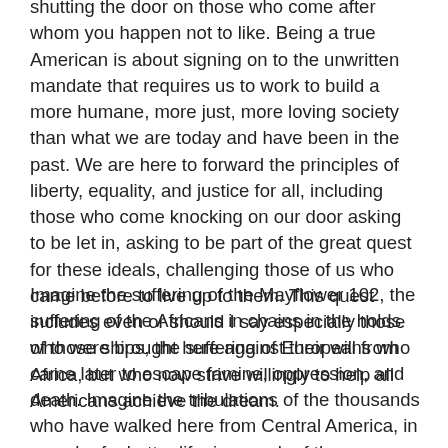shutting the door on those who come after whom you happen not to like. Being a true American is about signing on to the unwritten mandate that requires us to work to build a more humane, more just, more loving society than what we are today and have been in the past. We are here to forward the principles of liberty, equality, and justice for all, including those who come knocking on our door asking to be let in, asking to be part of the great quest for these ideals, challenging those of us who came before to live up to them. This quest includes even or should I say especially those who were brought here against their will from Africa, but who now strive willingly to help all Americans achieve the dream.
Imagine the suffering of the Mayflower 102, the suffering of the Africans in chains in the holds of those ships, the suffering of Europeans who came later to escape famine, oppression, and death. Imagine the tribulations of the thousands who have walked here from Central America, in search of a better life, in search of the promised liberty,